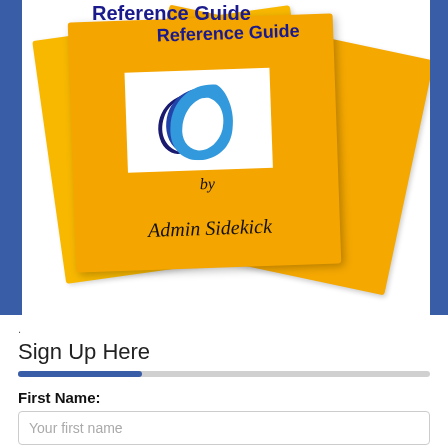[Figure (illustration): Yellow book cover titled 'Reference Guide by Admin Sidekick' with a blue wave logo on white background, shown as stacked pages at slight angles]
.
Sign Up Here
First Name:
Your first name